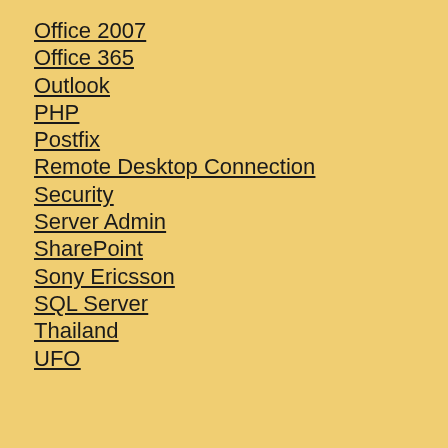Office 2007
Office 365
Outlook
PHP
Postfix
Remote Desktop Connection
Security
Server Admin
SharePoint
Sony Ericsson
SQL Server
Thailand
UFO